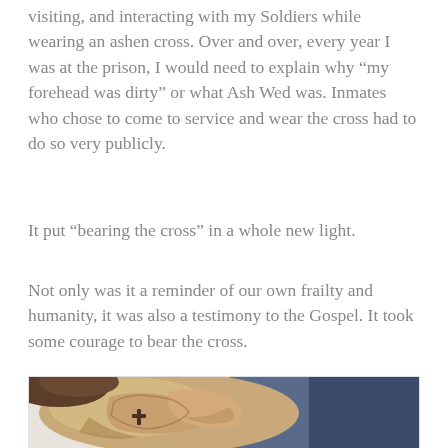visiting, and interacting with my Soldiers while wearing an ashen cross. Over and over, every year I was at the prison, I would need to explain why “my forehead was dirty” or what Ash Wed was. Inmates who chose to come to service and wear the cross had to do so very publicly.
It put “bearing the cross” in a whole new light.
Not only was it a reminder of our own frailty and humanity, it was also a testimony to the Gospel. It took some courage to bear the cross.
[Figure (illustration): A painting showing a close-up of hands with an ashen cross mark visible, painted in warm earth tones with a dark blue background.]